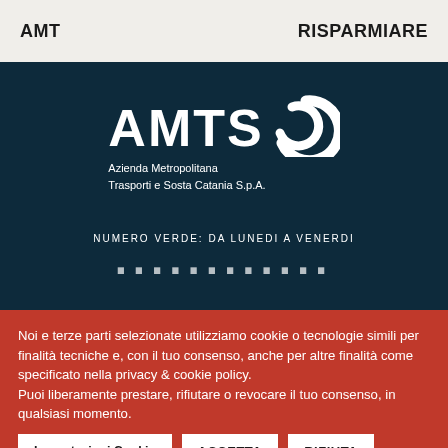AMT    RISPARMIARE
[Figure (logo): AMTS logo with swirl icon — Azienda Metropolitana Trasporti e Sosta Catania S.p.A.]
NUMERO VERDE: DA LUNEDI A VENERDI
Noi e terze parti selezionate utilizziamo cookie o tecnologie simili per finalità tecniche e, con il tuo consenso, anche per altre finalità come specificato nella privacy & cookie policy.
Puoi liberamente prestare, rifiutare o revocare il tuo consenso, in qualsiasi momento.
Impostazioni Cookie    ACCETTA    RIFIUTA